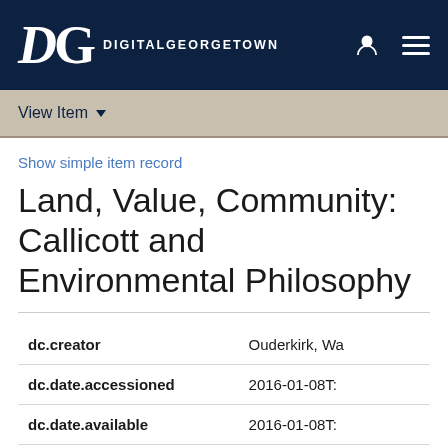DG DigitalGeorgetown
View Item
Show simple item record
Land, Value, Community: Callicott and Environmental Philosophy
| Field | Value |
| --- | --- |
| dc.creator | Ouderkirk, Wa |
| dc.date.accessioned | 2016-01-08T: |
| dc.date.available | 2016-01-08T: |
| dc.date.created | 2002 |